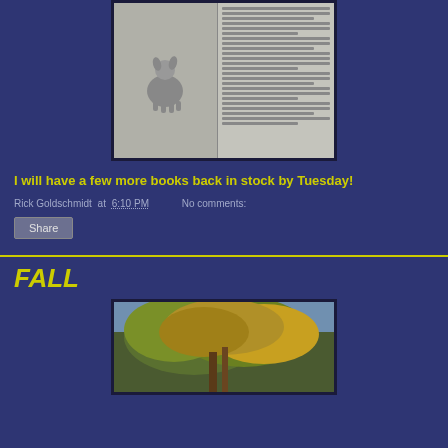[Figure (photo): Scanned book page showing a dog photo on the left and text columns on the right]
I will have a few more books back in stock by Tuesday!
Rick Goldschmidt at 6:10 PM   No comments:
Share
FALL
[Figure (photo): Autumn tree with green and yellow-orange foliage against a sky background]